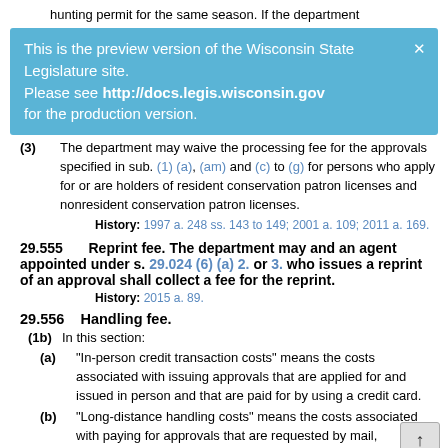hunting permit for the same season. If the department
[Figure (other): Preview banner: 'This is the preview version of the Wisconsin State Legislature site. Please see http://docs.legis.wisconsin.gov for the production version.' with a close X button.]
(3) The department may waive the processing fee for the approvals specified in sub. (1) (a), (am) and (c) to (g) for persons who apply for or are holders of resident conservation patron licenses and nonresident conservation patron licenses.
History: 1997 a. 248 ss. 143 to 149; 2001 a. 109; 2011 a. 169.
29.555    Reprint fee.
The department may and an agent appointed under s. 29.024 (6) (a) 2. or 3. who issues a reprint of an approval shall collect a fee for the reprint.
History: 2015 a. 89.
29.556    Handling fee.
(1b)  In this section:
(a) "In-person credit transaction costs" means the costs associated with issuing approvals that are applied for and issued in person and that are paid for by using a credit card.
(b) "Long-distance handling costs" means the costs associated with paying for approvals that are requested by mail, telephone or electronic means and includes credit